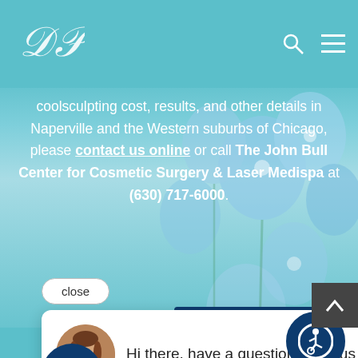Logo and navigation header
coolsculpting cost, results, and other details in Naperville and the Western suburbs of Chicago, please contact us online or call The John Bull Center for Cosmetic Surgery & Laser Medispa at (630) 717-6000.
[Figure (screenshot): Close button for popup overlay]
[Figure (screenshot): Chat popup with avatar photo of woman and text: Hi there, have a question? Text us here.]
[Figure (screenshot): Dark navy chat icon button with message bubble icon]
[Figure (screenshot): Accessibility wheelchair icon button]
wsletter Subscription
(630) 717-6000  /  Contact Us